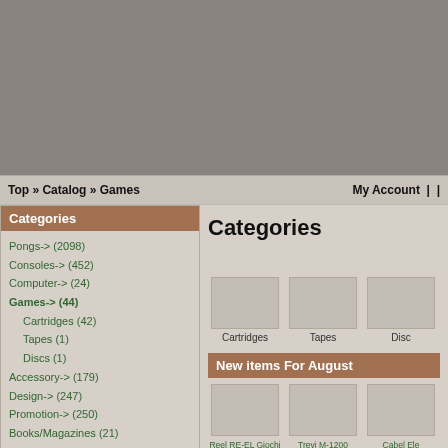[Figure (other): Gray header banner area at top of webpage]
Top » Catalog » Games    My Account  |  |
Categories
Pongs-> (2098)
Consoles-> (452)
Computer-> (24)
Games-> (44)
Cartridges (42)
Tapes (1)
Discs (1)
Accessory-> (179)
Design-> (247)
Promotion-> (250)
Books/Magazines (21)
Events-> (18)
Searches (9)
Special Features-> (33)
Wanted-> (28)
Shop Tipps
Donations (4)
Animations (1)
Manufacturers
What's New?
Categories
Cartridges
Tapes
Disc
New items For August
Reel RE-EL Giochi TV-10 Videogiochi a Cassette - Modulo Programmatore A Colori - All Games & Cartridges
Trevi M-1200 Colour Microprocessor Programmable TV Game Carts/Games (RCA Studio II "Family")
Cabel Ele Universal Compr Carts/G (Interton V "Fami